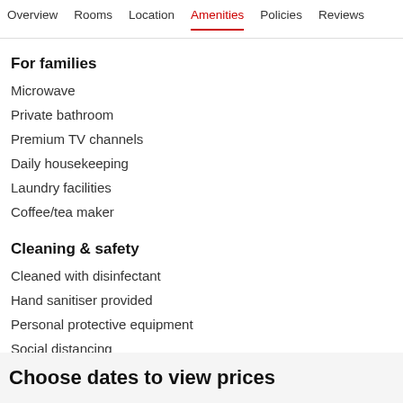Overview  Rooms  Location  Amenities  Policies  Reviews
For families
Microwave
Private bathroom
Premium TV channels
Daily housekeeping
Laundry facilities
Coffee/tea maker
Cleaning & safety
Cleaned with disinfectant
Hand sanitiser provided
Personal protective equipment
Social distancing
Choose dates to view prices